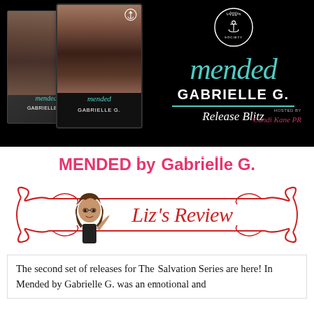[Figure (illustration): Book release banner for 'Mended' by Gabrielle G. showing book covers on left against black background, teal script title 'mended', author name 'GABRIELLE G.' in white caps, teal divider line, 'Release Blitz' in white italic script, Salvation Society circular badge logo top right, hosted by Candi Kane PR bottom right.]
MENDED by Gabrielle G.
[Figure (illustration): Decorative red scroll/swirl border banner with cartoon avatar of a brunette woman waving and red script text 'Liz's Review' in the center.]
The second set of releases for The Salvation Series are here! In Mended by Gabrielle G. was an emotional and